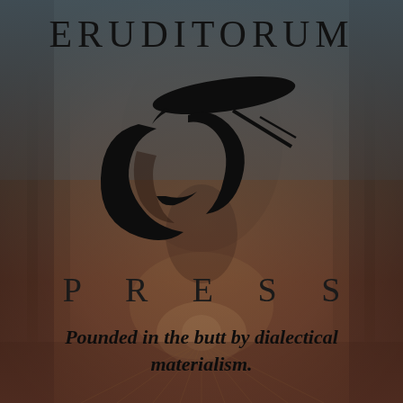[Figure (logo): Eruditorum Press logo: stylized 'EP' monogram with a quill/scroll design in black ink, with the word ERUDITORUM at top and PRESS below in spaced serif capitals, set against a dark fantasy illustration background]
ERUDITORUM
PRESS
Pounded in the butt by dialectical materialism.